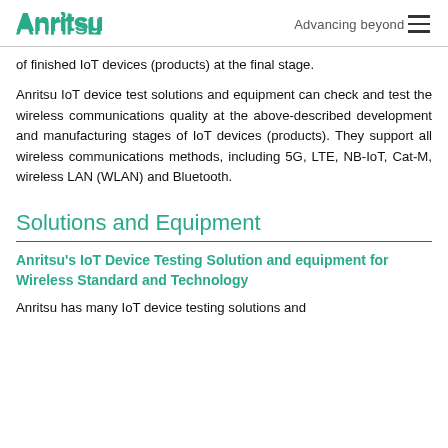Anritsu Advancing beyond
of finished IoT devices (products) at the final stage.
Anritsu IoT device test solutions and equipment can check and test the wireless communications quality at the above-described development and manufacturing stages of IoT devices (products). They support all wireless communications methods, including 5G, LTE, NB-IoT, Cat-M, wireless LAN (WLAN) and Bluetooth.
Solutions and Equipment
Anritsu's IoT Device Testing Solution and equipment for Wireless Standard and Technology
Anritsu has many IoT device testing solutions and